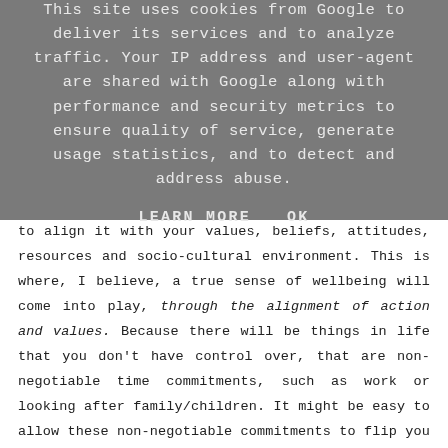This site uses cookies from Google to deliver its services and to analyze traffic. Your IP address and user-agent are shared with Google along with performance and security metrics to ensure quality of service, generate usage statistics, and to detect and address abuse.
LEARN MORE    OK
to align it with your values, beliefs, attitudes, resources and socio-cultural environment. This is where, I believe, a true sense of wellbeing will come into play, through the alignment of action and values. Because there will be things in life that you don't have control over, that are non-negotiable time commitments, such as work or looking after family/children. It might be easy to allow these non-negotiable commitments to flip you into a state of total imbalance, unless they align with your